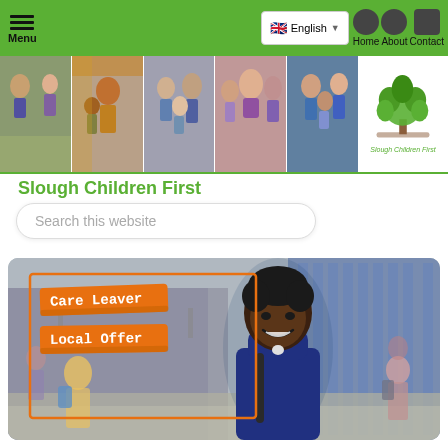Menu | English | Home | About | Contact
[Figure (photo): Banner with five collage photos of families and children, plus Slough Children First tree logo on the right]
Slough Children First
Search this website
[Figure (photo): Hero image of a smiling young Black male student wearing a navy polo shirt and backpack, standing outside a school building. Orange brush-stroke badges overlay the left side reading 'Care Leaver' and 'Local Offer' in handwritten style font, with an orange rectangle border outline.]